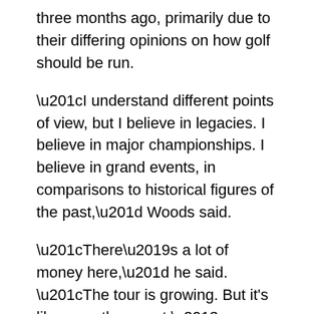three months ago, primarily due to their differing opinions on how golf should be run.
“I understand different points of view, but I believe in legacies. I believe in major championships. I believe in grand events, in comparisons to historical figures of the past,” Woods said.
“There’s a lot of money here,” he said. “The tour is growing. But it's like any other sport – it’s like tennis – you have to go in and earn it. You have to go out there and play for it. We have the opportunity to go ahead and do that. It’s just not guaranteed in advance.
It was a reference to some of the Public Investment Fund money from Saudi Arabia offered